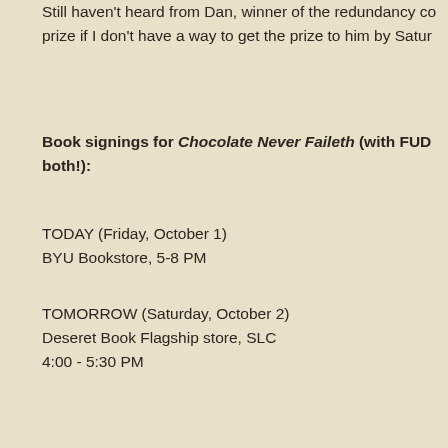Still haven't heard from Dan, winner of the redundancy co… prize if I don't have a way to get the prize to him by Satur…
Book signings for Chocolate Never Faileth (with FUDG… both!):
TODAY (Friday, October 1)
BYU Bookstore, 5-8 PM
TOMORROW (Saturday, October 2)
Deseret Book Flagship store, SLC
4:00 - 5:30 PM
Now for today's post:
Top 5 Things to Make MY Writing World a…
Writer's Digest had someone list the "top 5 things to make…